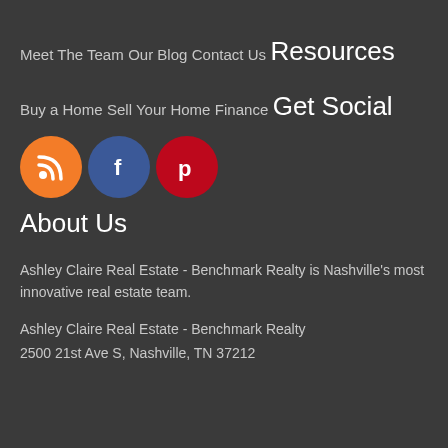Meet The Team
Our Blog
Contact Us
Resources
Buy a Home
Sell Your Home
Finance
Get Social
[Figure (illustration): Three social media icon circles: RSS (orange), Facebook (blue), Pinterest (red)]
About Us
Ashley Claire Real Estate - Benchmark Realty is Nashville's most innovative real estate team.
Ashley Claire Real Estate - Benchmark Realty
2500 21st Ave S, Nashville, TN 37212